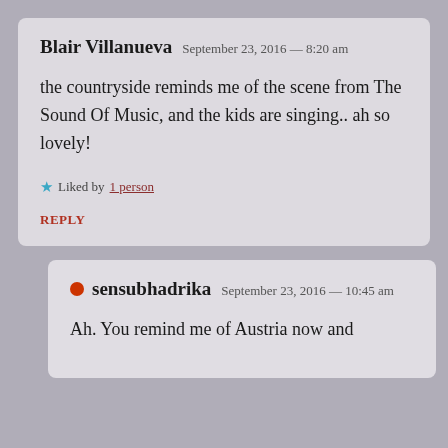Blair Villanueva  September 23, 2016 — 8:20 am
the countryside reminds me of the scene from The Sound Of Music, and the kids are singing.. ah so lovely!
Liked by 1 person
REPLY
sensubhadrika  September 23, 2016 — 10:45 am
Ah. You remind me of Austria now and